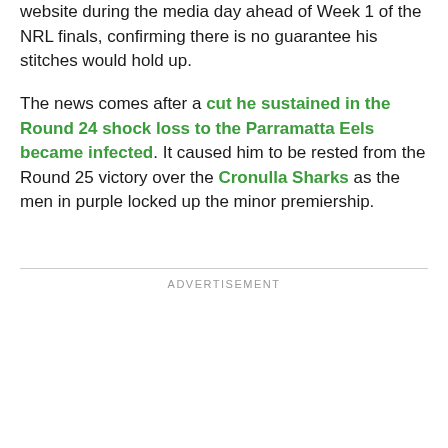website during the media day ahead of Week 1 of the NRL finals, confirming there is no guarantee his stitches would hold up.
The news comes after a cut he sustained in the Round 24 shock loss to the Parramatta Eels became infected. It caused him to be rested from the Round 25 victory over the Cronulla Sharks as the men in purple locked up the minor premiership.
ADVERTISEMENT